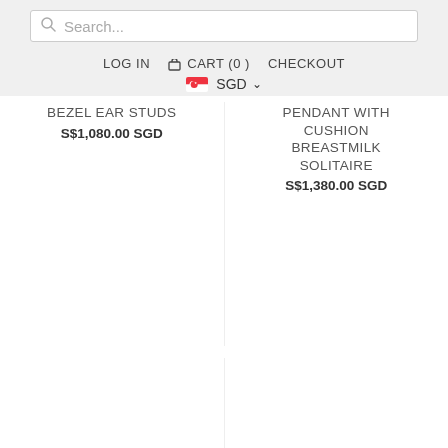Search...
LOG IN  CART (0)  CHECKOUT
SGD
BEZEL EAR STUDS
S$1,080.00 SGD
PENDANT WITH CUSHION BREASTMILK SOLITAIRE
S$1,380.00 SGD
SOLITAIRE 18K GOLD: ART DECO
18K gold cross
S$1,380.00 SGD